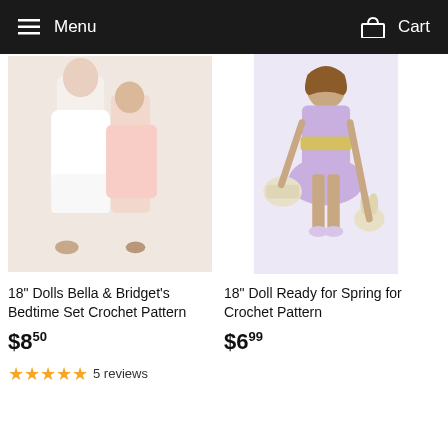Menu  Cart
[Figure (photo): Two dolls in white and pink bedtime/nightgown outfits standing together]
18" Dolls Bella & Bridget's Bedtime Set Crochet Pattern
$8.50
5 reviews
[Figure (photo): Doll in purple/lavender crochet spring outfit with basket and bunny accessories]
18" Doll Ready for Spring for Crochet Pattern
$6.99